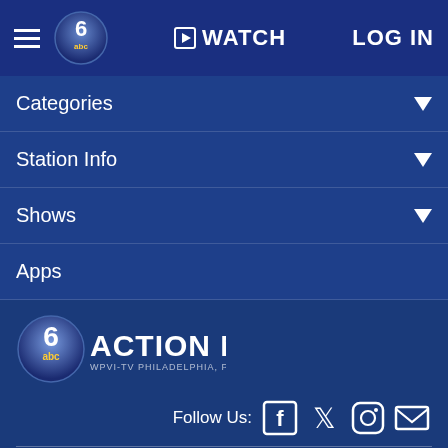WATCH | LOG IN
Categories
Station Info
Shows
Apps
[Figure (logo): 6abc Action News WPVI-TV Philadelphia, PA logo]
Follow Us: [Facebook] [Twitter] [Instagram] [Email]
Privacy Policy
Do Not Sell My Personal Information
Children's Privacy Policy
Your California Privacy Rights    Terms of Use
Interest-Based Ads    Public Inspection File